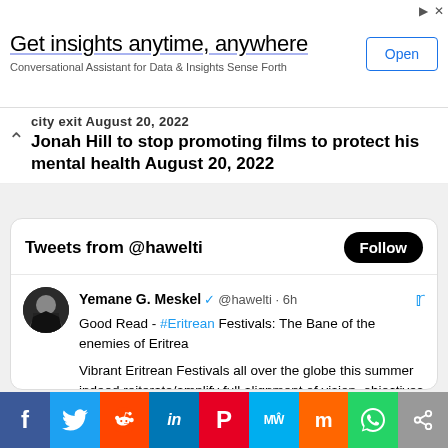[Figure (screenshot): Advertisement banner: 'Get insights anytime, anywhere - Conversational Assistant for Data & Insights Sense Forth' with an Open button]
city exit August 20, 2022
Jonah Hill to stop promoting films to protect his mental health August 20, 2022
[Figure (screenshot): Twitter widget showing Tweets from @hawelti with a Follow button and a tweet by Yemane G. Meskel about Eritrean Festivals]
Social share bar: Facebook, Twitter, Reddit, LinkedIn, Pinterest, MeWe, Mix, WhatsApp, Share